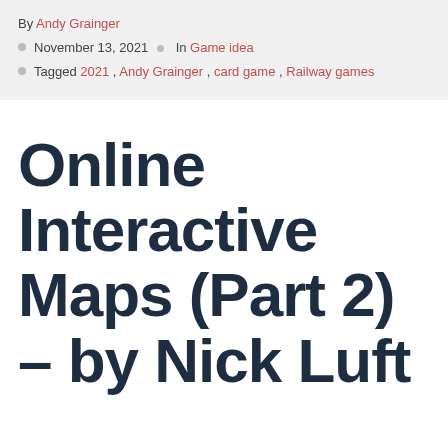By Andy Grainger
November 13, 2021 · In Game idea
Tagged 2021 , Andy Grainger , card game , Railway games
Online Interactive Maps (Part 2) – by Nick Luft